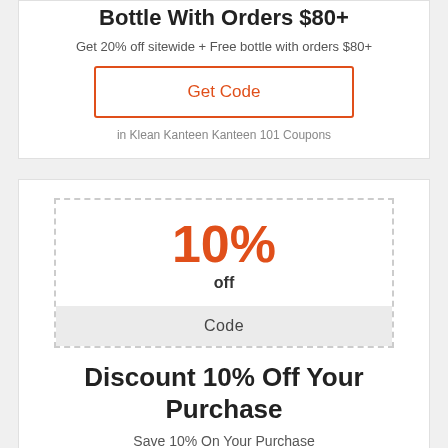Bottle With Orders $80+
Get 20% off sitewide + Free bottle with orders $80+
Get Code
in Klean Kanteen Kanteen 101 Coupons
[Figure (other): Coupon badge showing 10% off with Code label]
Discount 10% Off Your Purchase
Save 10% On Your Purchase
Get Code
in Klean Kanteen Kanteen 101 Coupons